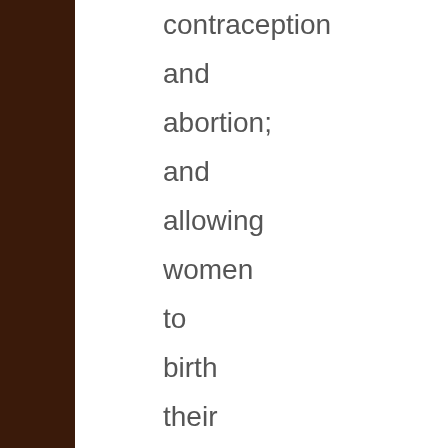contraception and abortion; and allowing women to birth their babies where, with whom and in whatever manner they see fit.
Require employers